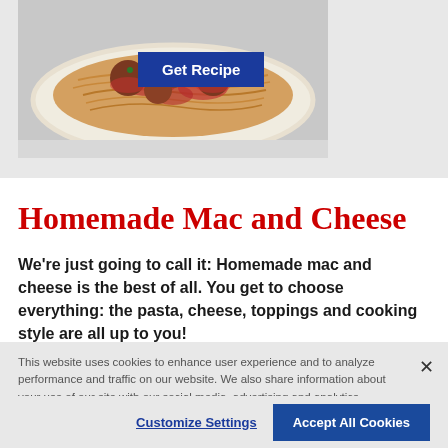[Figure (photo): Food photo showing spaghetti with meatballs and tomato sauce on a white plate, with a blue 'Get Recipe' button overlay]
Homemade Mac and Cheese
We're just going to call it: Homemade mac and cheese is the best of all. You get to choose everything: the pasta, cheese, toppings and cooking style are all up to you!
This website uses cookies to enhance user experience and to analyze performance and traffic on our website. We also share information about your use of our site with our social media, advertising and analytics partners. Link to Cookie Policy
Customize Settings   Accept All Cookies